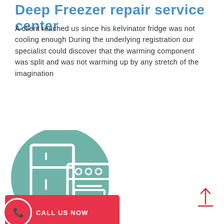Deep Freezer repair service center
A client reached us since his kelvinator fridge was not cooling enough During the underlying registration our specialist could discover that the warming component was split and was not warming up by any stretch of the imagination
Book
[Figure (illustration): A teal/green circle containing white icons of a refrigerator and a stove/oven appliance, representing appliance repair services. Below the circle is a red button with a phone icon and 'CALL US NOW' text.]
CALL US NOW